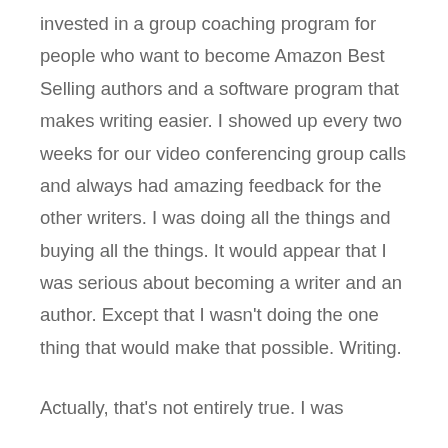invested in a group coaching program for people who want to become Amazon Best Selling authors and a software program that makes writing easier. I showed up every two weeks for our video conferencing group calls and always had amazing feedback for the other writers. I was doing all the things and buying all the things. It would appear that I was serious about becoming a writer and an author. Except that I wasn't doing the one thing that would make that possible. Writing.
Actually, that's not entirely true. I was